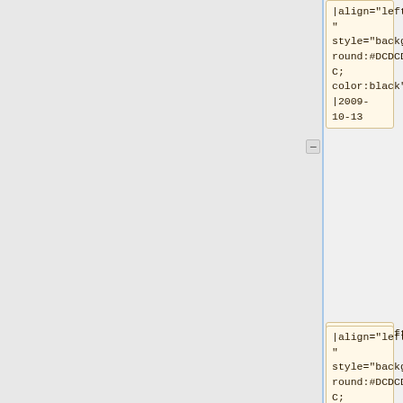|align="left" style="background:#DCDCDC; color:black"|2009-10-13
|align="left" style="background:#DCDCDC; color:black"| [http://www.holly-wood.it/tmp/LEGODraw/m44237.dat 44237]
|align="left